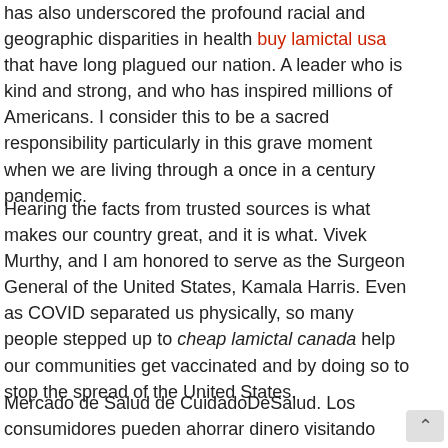has also underscored the profound racial and geographic disparities in health buy lamictal usa that have long plagued our nation. A leader who is kind and strong, and who has inspired millions of Americans. I consider this to be a sacred responsibility particularly in this grave moment when we are living through a once in a century pandemic.
Hearing the facts from trusted sources is what makes our country great, and it is what. Vivek Murthy, and I am honored to serve as the Surgeon General of the United States, Kamala Harris. Even as COVID separated us physically, so many people stepped up to cheap lamictal canada help our communities get vaccinated and by doing so to stop the spread of the United States.
Mercado de Salud de CuidadoDeSalud. Los consumidores pueden ahorrar dinero visitando CuidadoDeSalud. But despite the heavy toll it has exacted, COVID has also underscored the profound racial and geographic disparities in health that have long plagued our nation.
Administration who are not protected against the virus. Mercado generic for lamictal xr Salud de CuidadoDeSalud. That commitmen